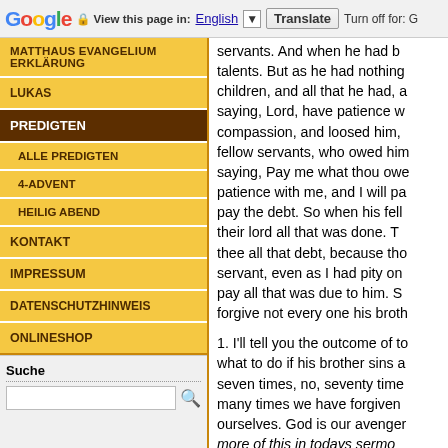Google  View this page in: English [▼]  Translate  Turn off for: G
MATTHAUS EVANGELIUM ERKLÄRUNG
LUKAS
PREDIGTEN
ALLE PREDIGTEN
4-ADVENT
HEILIG ABEND
KONTAKT
IMPRESSUM
DATENSCHUTZHINWEIS
ONLINESHOP
Suche
servants.  And when he had b talents.  But as he had nothing children, and all that he had, a saying, Lord, have patience w compassion, and loosed him, fellow servants, who owed him saying, Pay me what thou owe patience with me, and I will pa pay the debt.  So when his fell their lord all that was done.  T thee all that debt, because tho servant, even as I had pity on pay all that was due to him.  S forgive not every one his broth
1. I'll tell you the outcome of to what to do if his brother sins a seven times, no, seventy time many times we have forgiven ourselves. God is our avenger more of this in todays sermo